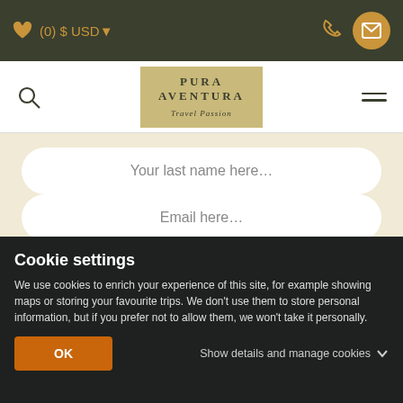(0) $ USD
[Figure (screenshot): Pura Aventura Travel Passion logo in golden box]
Your last name here...
Email here...
Subscribe
Cookie settings
We use cookies to enrich your experience of this site, for example showing maps or storing your favourite trips. We don't use them to store personal information, but if you prefer not to allow them, we won't take it personally.
OK
Show details and manage cookies